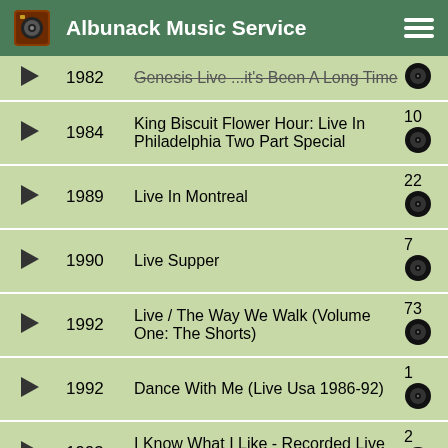Albunack Music Service
|  | Year | Title | Count |
| --- | --- | --- | --- |
| ▶ | 1982 | Genesis Live ...It's Been A Long Time |  |
| ▶ | 1984 | King Biscuit Flower Hour: Live In Philadelphia Two Part Special | 10 |
| ▶ | 1989 | Live In Montreal | 22 |
| ▶ | 1990 | Live Supper | 7 |
| ▶ | 1992 | Live / The Way We Walk (Volume One: The Shorts) | 73 |
| ▶ | 1992 | Dance With Me (Live Usa 1986-92) | 1 |
| ▶ | 1993 | I Know What I Like - Recorded Live In 1992 - Part 1 | 2 |
| ▶ | 1993 | Live / The Way We Walk (Volume Two: | 53 |